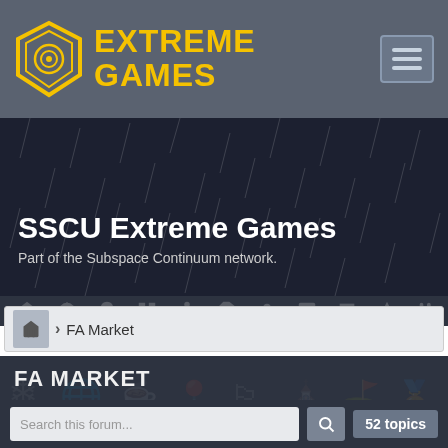[Figure (logo): Extreme Games logo: yellow diamond/shield icon with concentric circles, and yellow bold text 'EXTREME GAMES']
SSCU Extreme Games
Part of the Subspace Continuum network.
FA Market
FA MARKET
Moderator: lv
Search this forum...
52 topics